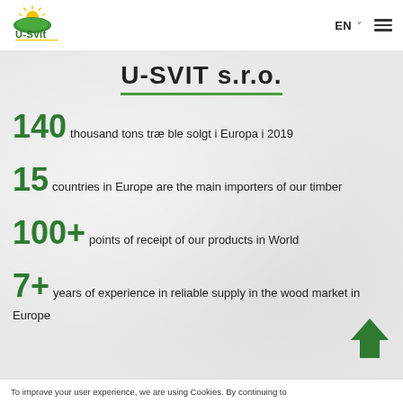[Figure (logo): U-Svit company logo with sun and field graphic above the text 'U-Svit']
EN ☰
U-SVIT s.r.o.
140 thousand tons træ ble solgt i Europa i 2019
15 countries in Europe are the main importers of our timber
100+ points of receipt of our products in World
7+ years of experience in reliable supply in the wood market in Europe
To improve your user experience, we are using Cookies. By continuing to